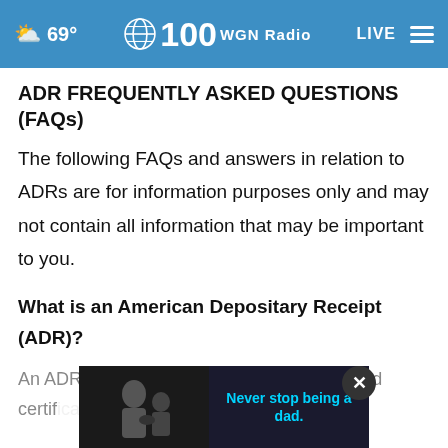☁ 69° | 100 WGN Radio | LIVE
ADR FREQUENTLY ASKED QUESTIONS (FAQs)
The following FAQs and answers in relation to ADRs are for information purposes only and may not contain all information that may be important to you.
What is an American Depositary Receipt (ADR)?
An ADR is a negotiable US dollar denominated certificate(s) in US...Holders of ADRs...
[Figure (photo): Advertisement banner showing a father and child with text 'Never stop being a dad.']